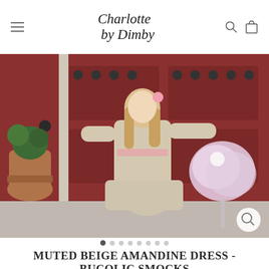Charlotte by Dimby — navigation header with hamburger menu, logo, search and cart icons
[Figure (photo): A young girl wearing a muted beige smocked long-sleeve dress with pink smocking detail, holding a large pastel pink tulle pompom, standing in front of a red door, outdoors on a stone step. A terracotta pot with greenery is visible on the left.]
MUTED BEIGE AMANDINE DRESS - BUCOLIC SMOCKS